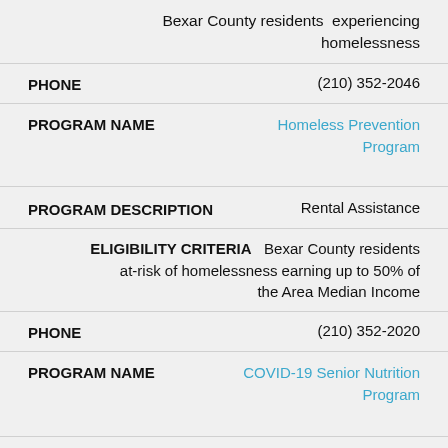Bexar County residents experiencing homelessness
PHONE   (210) 352-2046
PROGRAM NAME   Homeless Prevention Program
PROGRAM DESCRIPTION   Rental Assistance
ELIGIBILITY CRITERIA   Bexar County residents at-risk of homelessness earning up to 50% of the Area Median Income
PHONE   (210) 352-2020
PROGRAM NAME   COVID-19 Senior Nutrition Program
PROGRAM DESCRIPTION   Meal Delivery Program